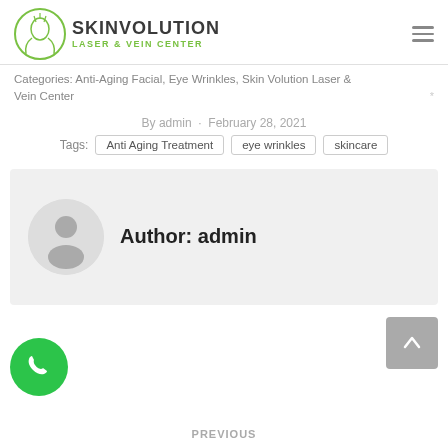[Figure (logo): Skinvolution Laser & Vein Center logo with circular icon of a face and the text SKINVOLUTION in dark gray and LASER & VEIN CENTER in green]
Categories: Anti-Aging Facial, Eye Wrinkles, Skin Volution Laser & Vein Center
By admin · February 28, 2021
Tags: Anti Aging Treatment   eye wrinkles   skincare
Author: admin
PREVIOUS